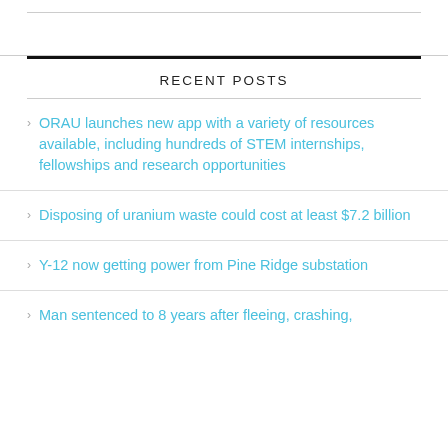RECENT POSTS
ORAU launches new app with a variety of resources available, including hundreds of STEM internships, fellowships and research opportunities
Disposing of uranium waste could cost at least $7.2 billion
Y-12 now getting power from Pine Ridge substation
Man sentenced to 8 years after fleeing, crashing, attempting carjackings